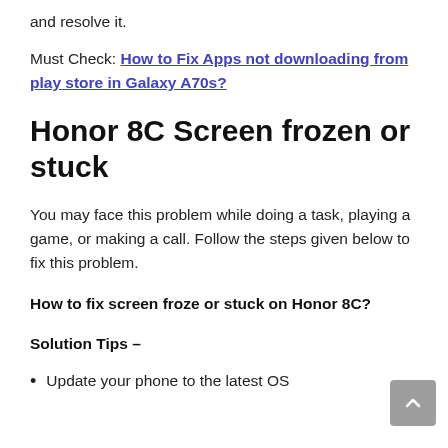and resolve it.
Must Check: How to Fix Apps not downloading from play store in Galaxy A70s?
Honor 8C Screen frozen or stuck
You may face this problem while doing a task, playing a game, or making a call. Follow the steps given below to fix this problem.
How to fix screen froze or stuck on Honor 8C?
Solution Tips –
Update your phone to the latest OS